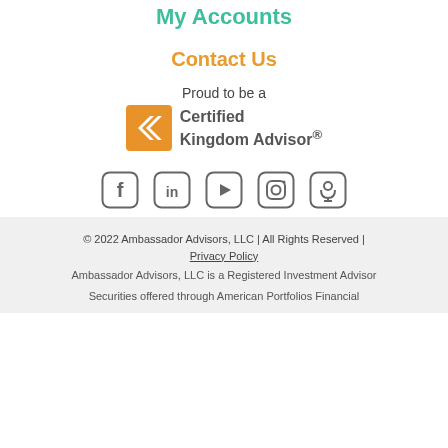My Accounts
Contact Us
Proud to be a
[Figure (logo): Certified Kingdom Advisor logo with orange double-chevron icon and gray text reading 'Certified Kingdom Advisor®']
[Figure (infographic): Social media icons: Facebook, LinkedIn, YouTube, Instagram, Podcast]
© 2022 Ambassador Advisors, LLC | All Rights Reserved | Privacy Policy
Ambassador Advisors, LLC is a Registered Investment Advisor
Securities offered through American Portfolios Financial